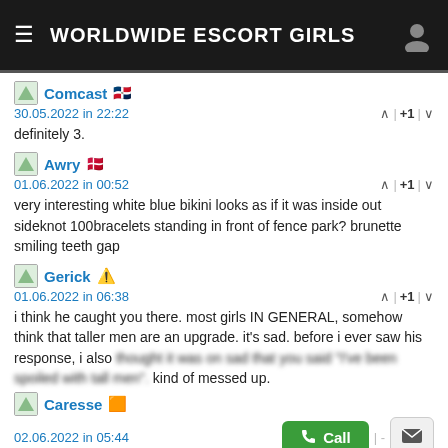WORLDWIDE ESCORT GIRLS
Comcast
30.05.2022 in 22:22
definitely 3.
Awry
01.06.2022 in 00:52
very interesting white blue bikini looks as if it was inside out sideknot 100bracelets standing in front of fence park? brunette smiling teeth gap
Gerick
01.06.2022 in 06:38
i think he caught you there. most girls IN GENERAL, somehow think that taller men are an upgrade. it's sad. before i ever saw his response, i also thought it was on sad that you said "I've been spoiled with tall men". kind of messed up.
Caresse
02.06.2022 in 05:44
Thanks so much for checking in, Pteromom!! You're the best